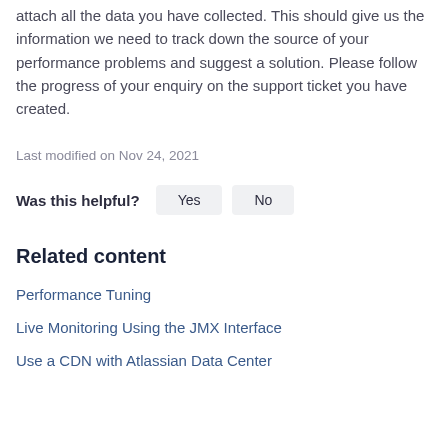attach all the data you have collected. This should give us the information we need to track down the source of your performance problems and suggest a solution. Please follow the progress of your enquiry on the support ticket you have created.
Last modified on Nov 24, 2021
Was this helpful?  Yes  No
Related content
Performance Tuning
Live Monitoring Using the JMX Interface
Use a CDN with Atlassian Data Center